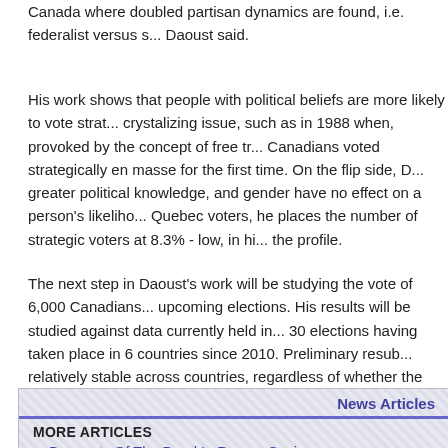Canada where doubled partisan dynamics are found, i.e. federalist versus s... Daoust said.
His work shows that people with political beliefs are more likely to vote strat... crystalizing issue, such as in 1988 when, provoked by the concept of free tr... Canadians voted strategically en masse for the first time. On the flip side, D... greater political knowledge, and gender have no effect on a person's likeliho... Quebec voters, he places the number of strategic voters at 8.3% - low, in hi... the profile.
The next step in Daoust's work will be studying the vote of 6,000 Canadians... upcoming elections. His results will be studied against data currently held in... 30 elections having taken place in 6 countries since 2010. Preliminary resub... relatively stable across countries, regardless of whether the elections are pr... system of representation is proportional or not.
News Articles
MORE ARTICLES
Banquets Of The Dead In Roman Spain
Science Vs Nature: How To Prevent Rot In Half Of All Food